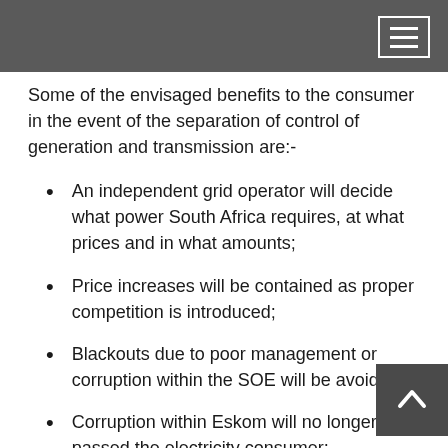[navigation menu bar]
Some of the envisaged benefits to the consumer in the event of the separation of control of generation and transmission are:-
An independent grid operator will decide what power South Africa requires, at what prices and in what amounts;
Price increases will be contained as proper competition is introduced;
Blackouts due to poor management or corruption within the SOE will be avoided;
Corruption within Eskom will no longer be passed the electricity consumer;
Municipalities will be at liberty to buy directly from